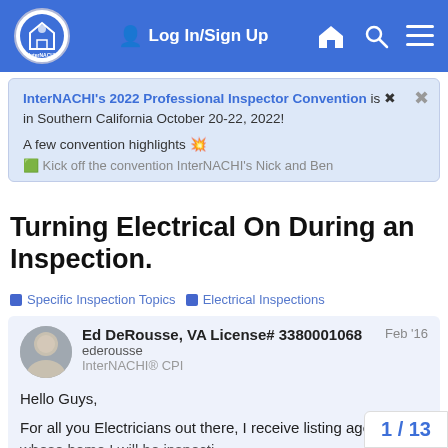Log In/Sign Up
InterNACHI's 2022 Professional Inspector Convention is in Southern California October 20-22, 2022!

A few convention highlights 💥

🟩 Kick off the convention InterNACHI's Nick and Ben
Turning Electrical On During an Inspection.
Specific Inspection Topics   Electrical Inspections
Ed DeRousse, VA License# 3380001068
ederousse
InterNACHI® CPI
Feb '16
Hello Guys,

For all you Electricians out there, I receive listing agent whose home I will be inspecti
1 / 13